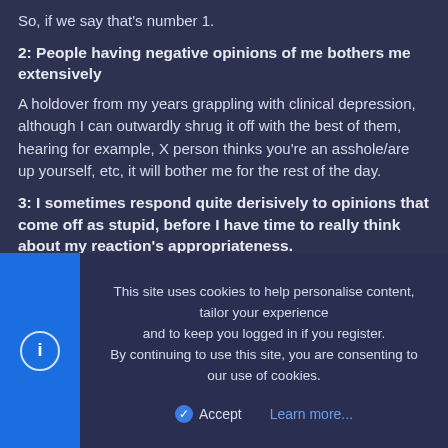So, if we say that's number 1.
2: People having negative opinions of me bothers me extensively
A holdover from my years grappling with clinical depression, although I can outwardly shrug it off with the best of them, hearing for example, X person thinks you're an asshole/are up yourself, etc, it will bother me for the rest of the day.
3: I sometimes respond quite derisively to opinions that come off as stupid, before I have time to really think about my reaction's appropriateness.
This has led to me rankling a lot of people around me in college, including, but not limited to, a hardcore anarchist, and several (primarily meat eating) people who still had the gall to criticize me for hunting, and shooting.
4: I'm quite unfit
This site uses cookies to help personalise content, tailor your experience and to keep you logged in if you register.
By continuing to use this site, you are consenting to our use of cookies.